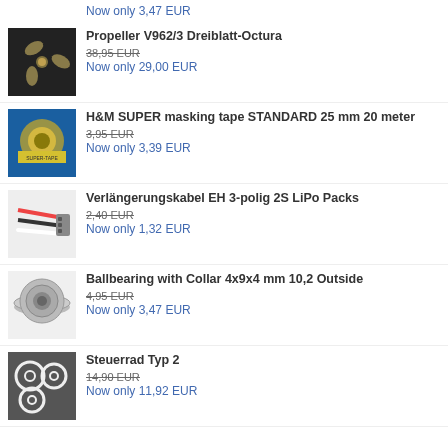Now only 3,47 EUR
[Figure (photo): Photo of a three-blade propeller V962/3 Dreiblatt-Octura]
Propeller V962/3 Dreiblatt-Octura
38,95 EUR
Now only 29,00 EUR
[Figure (photo): Photo of H&M SUPER masking tape roll]
H&M SUPER masking tape STANDARD 25 mm 20 meter
3,95 EUR
Now only 3,39 EUR
[Figure (photo): Photo of Verlängerungskabel EH 3-polig 2S LiPo cable]
Verlängerungskabel EH 3-polig 2S LiPo Packs
2,40 EUR
Now only 1,32 EUR
[Figure (photo): Photo of a flanged ball bearing]
Ballbearing with Collar 4x9x4 mm 10,2 Outside
4,95 EUR
Now only 3,47 EUR
[Figure (photo): Photo of Steuerrad Typ 2 steering wheels]
Steuerrad Typ 2
14,90 EUR
Now only 11,92 EUR